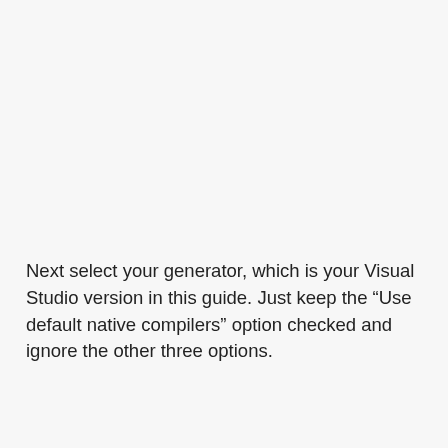Next select your generator, which is your Visual Studio version in this guide. Just keep the “Use default native compilers” option checked and ignore the other three options.